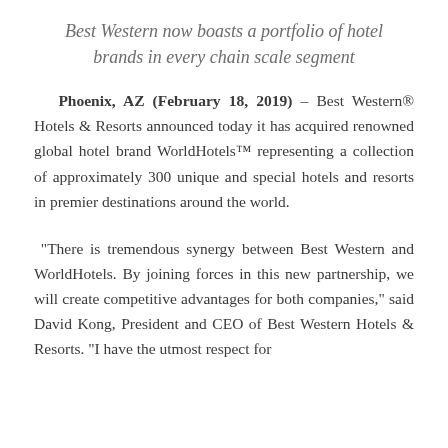Best Western now boasts a portfolio of hotel brands in every chain scale segment
Phoenix, AZ (February 18, 2019) – Best Western® Hotels & Resorts announced today it has acquired renowned global hotel brand WorldHotels™ representing a collection of approximately 300 unique and special hotels and resorts in premier destinations around the world.
"There is tremendous synergy between Best Western and WorldHotels. By joining forces in this new partnership, we will create competitive advantages for both companies," said David Kong, President and CEO of Best Western Hotels & Resorts. "I have the utmost respect for